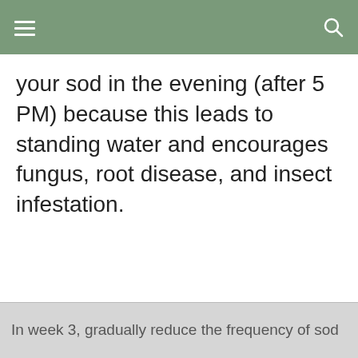your sod in the evening (after 5 PM) because this leads to standing water and encourages fungus, root disease, and insect infestation.
In week 3, gradually reduce the frequency of sod